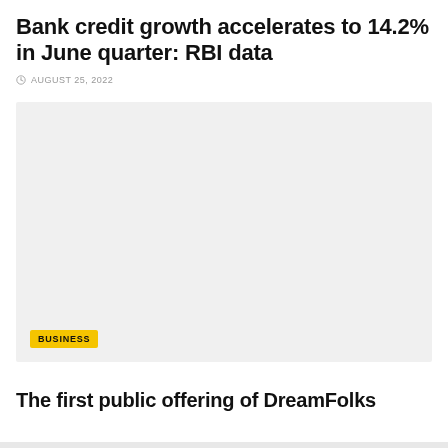Bank credit growth accelerates to 14.2% in June quarter: RBI data
AUGUST 25, 2022
[Figure (photo): Large image placeholder with light gray background and a BUSINESS badge label in the lower left corner]
The first public offering of DreamFolks